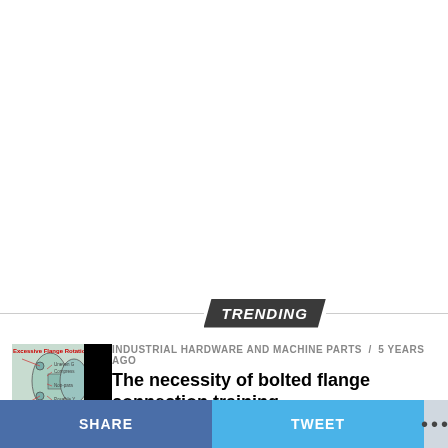TRENDING
[Figure (illustration): Diagram showing excessive flange rotation with labels: Uneven Gasket Compression, Non-parallel flanges, Bolts, Possible Y...]
INDUSTRIAL HARDWARE AND MACHINE PARTS / 5 years ago
The necessity of bolted flange connection training
MOTORS / 5 years ago
[Figure (photo): Partial photo of motor equipment]
SHARE   TWEET   ...